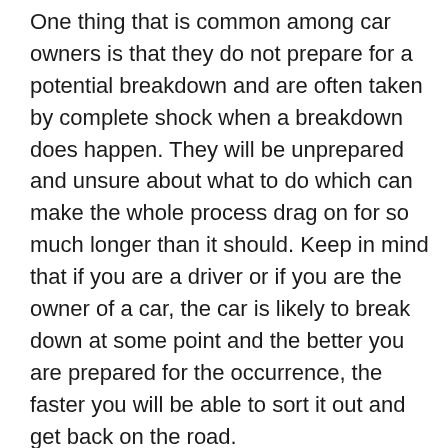One thing that is common among car owners is that they do not prepare for a potential breakdown and are often taken by complete shock when a breakdown does happen. They will be unprepared and unsure about what to do which can make the whole process drag on for so much longer than it should. Keep in mind that if you are a driver or if you are the owner of a car, the car is likely to break down at some point and the better you are prepared for the occurrence, the faster you will be able to sort it out and get back on the road.
To prepare for a breakdown, you will have to get a list of every garage in your country together with information telling you whether they are all night twenty four hour garages and whether they will offer road side assistance. You can never tell where your car is going to break down and for complex it might be you in the country or it...